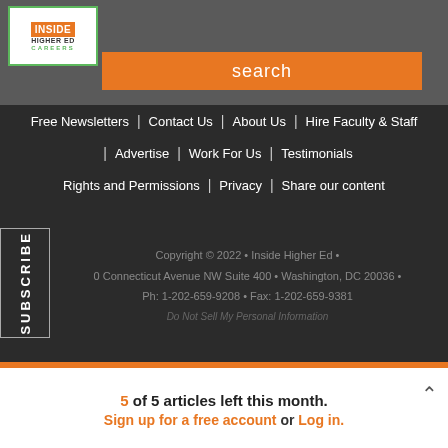[Figure (logo): Inside Higher Ed Careers logo - green border box with orange INSIDE text and HIGHER ED text below, CAREERS in green]
search
Free Newsletters | Contact Us | About Us | Hire Faculty & Staff
Advertise | Work For Us | Testimonials
Rights and Permissions | Privacy | Share our content
SUBSCRIBE
Copyright © 2022 · Inside Higher Ed ·
0 Connecticut Avenue NW Suite 400 · Washington, DC 20036 ·
Ph: 1-202-659-9208 · Fax: 1-202-659-9381
Do Not Sell My Personal Information
5 of 5 articles left this month.
Sign up for a free account or Log in.